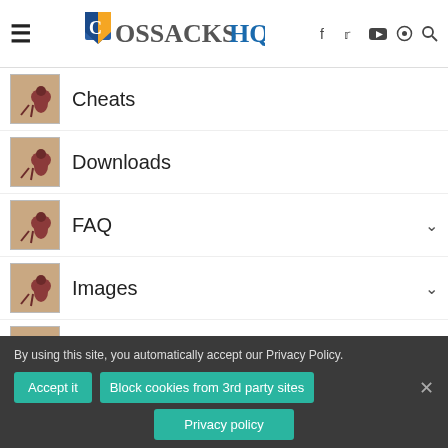CossacksHQ — site header with hamburger menu, logo, and social icons (Facebook, Twitter, YouTube, Steam, Search)
Cheats
Downloads
FAQ
Images
Interviews
News
By using this site, you automatically accept our Privacy Policy.
Accept it | Block cookies from 3rd party sites | Privacy policy | ×